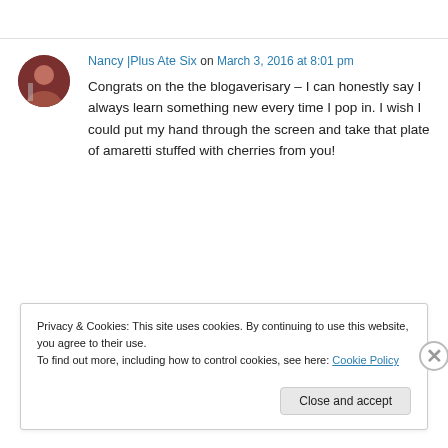[Figure (photo): Circular avatar photo of a person, reddish-brown tones]
Nancy |Plus Ate Six on March 3, 2016 at 8:01 pm
Congrats on the the blogaverisary – I can honestly say I always learn something new every time I pop in. I wish I could put my hand through the screen and take that plate of amaretti stuffed with cherries from you!
Privacy & Cookies: This site uses cookies. By continuing to use this website, you agree to their use.
To find out more, including how to control cookies, see here: Cookie Policy
Close and accept